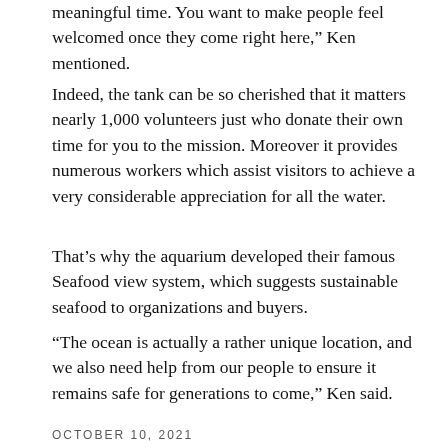meaningful time. You want to make people feel welcomed once they come right here," Ken mentioned.
Indeed, the tank can be so cherished that it matters nearly 1,000 volunteers just who donate their own time for you to the mission. Moreover it provides numerous workers which assist visitors to achieve a very considerable appreciation for all the water.
That's why the aquarium developed their famous Seafood view system, which suggests sustainable seafood to organizations and buyers.
“The ocean is actually a rather unique location, and we also need help from our people to ensure it remains safe for generations to come,” Ken said.
OCTOBER 10, 2021